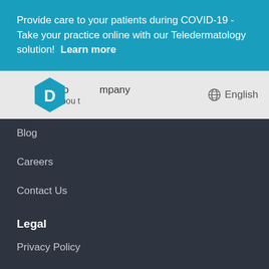Provide care to your patients during COVID-19 - Take your practice online with our Teledermatology solution!  Learn more
[Figure (logo): Hexagonal D logo in teal/blue color]
Company
About
English
Blog
Careers
Contact Us
Legal
Privacy Policy
Patient Opt-out Form
Patient Opt-in Form
Terms of Use
Subject Access Request Form